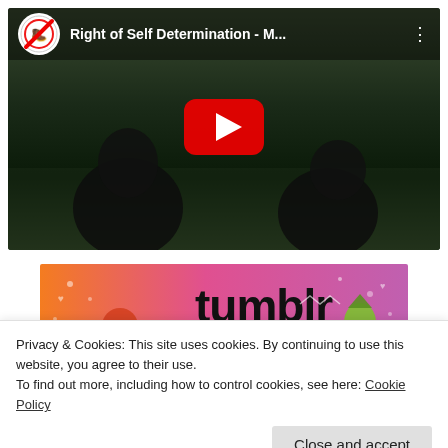[Figure (screenshot): YouTube video thumbnail showing 'Right of Self Determination - M...' with a play button overlay. Dark outdoor scene with figures in dark clothing. YouTube logo icon and three-dot menu visible in top bar.]
[Figure (screenshot): Tumblr banner advertisement with orange-to-pink gradient background, 'tumblr' text in bold black, decorative stickers including octopus and green character.]
Privacy & Cookies: This site uses cookies. By continuing to use this website, you agree to their use.
To find out more, including how to control cookies, see here: Cookie Policy
Close and accept